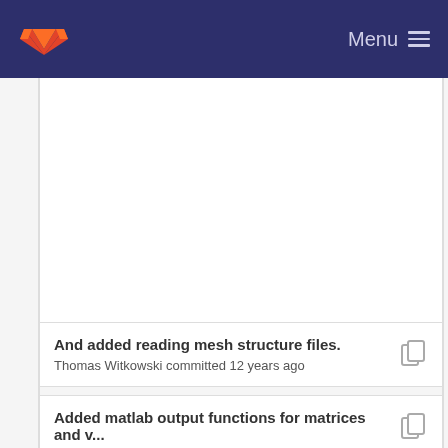GitLab — Menu
And added reading mesh structure files.
Thomas Witkowski committed 12 years ago
Added matlab output functions for matrices and v...
Thomas Witkowski committed 12 years ago
And added reading mesh structure files.
Thomas Witkowski committed 12 years ago